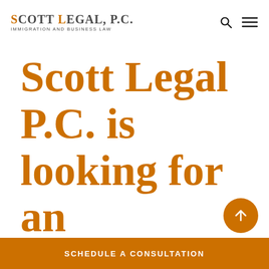SCOTT LEGAL, P.C. IMMIGRATION AND BUSINESS LAW
Scott Legal P.C. is looking for an
SCHEDULE A CONSULTATION